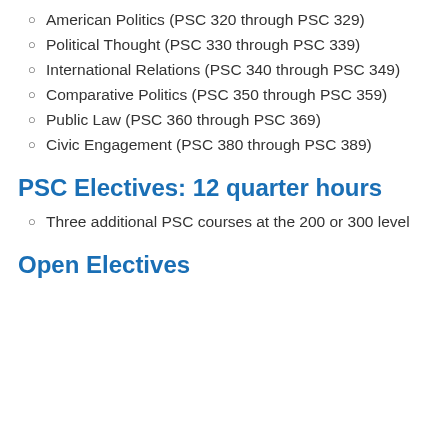American Politics (PSC 320 through PSC 329)
Political Thought (PSC 330 through PSC 339)
International Relations (PSC 340 through PSC 349)
Comparative Politics (PSC 350 through PSC 359)
Public Law (PSC 360 through PSC 369)
Civic Engagement (PSC 380 through PSC 389)
PSC Electives: 12 quarter hours
Three additional PSC courses at the 200 or 300 level
Open Electives